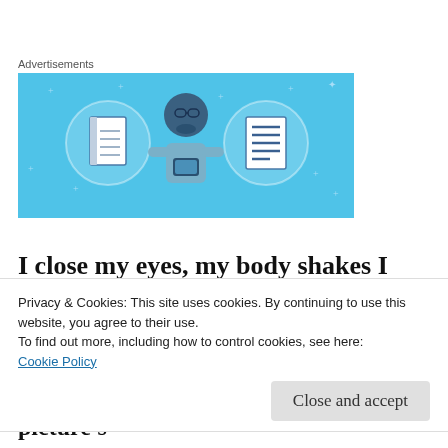[Figure (illustration): Advertisement banner with light blue background showing an illustrated character with glasses sitting between two notebook/document icons, with small star/sparkle decorations scattered around]
I close my eyes, my body shakes I take off down the hall,
I see my goal, my eyes are set on the lion down
Privacy & Cookies: This site uses cookies. By continuing to use this website, you agree to their use.
To find out more, including how to control cookies, see here:
Cookie Policy
Close and accept
The demons are behind me but the picture's